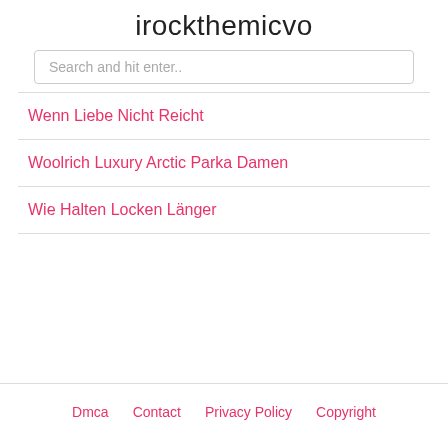irockthemicvo
Search and hit enter..
Wenn Liebe Nicht Reicht
Woolrich Luxury Arctic Parka Damen
Wie Halten Locken Länger
Dmca   Contact   Privacy Policy   Copyright